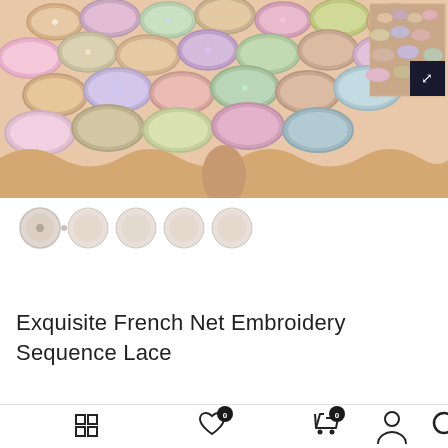[Figure (photo): Close-up photo of exquisite French net embroidery sequence lace fabric featuring oval sequin-like embellishments in rose gold, pink, white, and champagne colors arranged in a layered scallop pattern. A thumbnail preview with an expand button is visible in the top right corner.]
Exquisite French Net Embroidery Sequence Lace
[Figure (other): Bottom navigation bar with icons for grid/menu, wishlist (heart with badge 0), cart (with badge 0), account (person), and search (magnifying glass)]